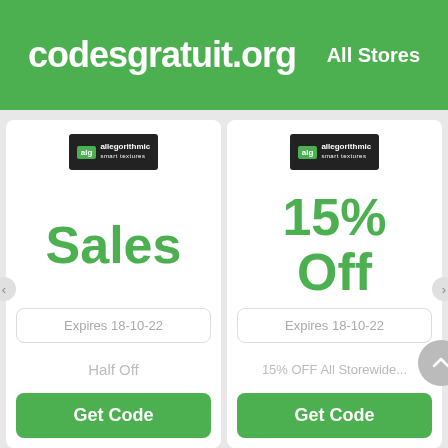codesgratuit.org   All Stores
[Figure (logo): Allegorithmic brand logo on dark background, left card]
Sales
Expires 18-10-22
Half Off
Get Code
[Figure (logo): Allegorithmic brand logo on dark background, right card]
15% Off
Expires 18-10-22
15% OFF All Storewide...
Get Code